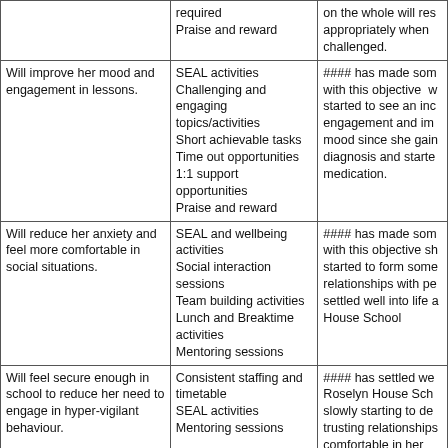| Objective | Strategies/Activities | Progress/Review |
| --- | --- | --- |
|  | required
Praise and reward | on the whole will res appropriately when challenged. |
| Will improve her mood and engagement in lessons. | SEAL activities
Challenging and engaging topics/activities
Short achievable tasks
Time out opportunities
1:1 support opportunities
Praise and reward | #### has made som with this objective w started to see an inc engagement and im mood since she gain diagnosis and starte medication. |
| Will reduce her anxiety and feel more comfortable in social situations. | SEAL and wellbeing activities
Social interaction sessions
Team building activities
Lunch and Breaktime activities
Mentoring sessions | #### has made som with this objective sh started to form some relationships with pe settled well into life a House School |
| Will feel secure enough in school to reduce her need to engage in hyper-vigilant behaviour. | Consistent staffing and timetable
SEAL activities
Mentoring sessions | #### has settled we Roselyn House Sch slowly starting to de trusting relationships comfortable in her environment. |
| Will be able to communicate her feelings to others and collaborate in joint problem solving when issues arise without demonstrating the... | English lessons
Speaking and Listening activities
SEAL activities
PSHE lessons
Social interaction sessions
Mentoring... | #### has started to trusting relations wit is starting to open up feelings when speak school staff and othe professionals. |